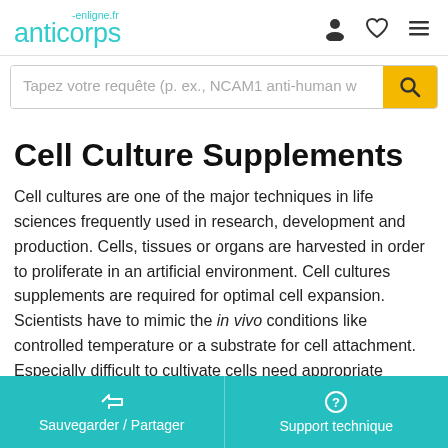anticorps-enligne.fr
Cell Culture Supplements
Cell cultures are one of the major techniques in life sciences frequently used in research, development and production. Cells, tissues or organs are harvested in order to proliferate in an artificial environment. Cell cultures supplements are required for optimal cell expansion. Scientists have to mimic the in vivo conditions like controlled temperature or a substrate for cell attachment. Especially difficult to cultivate cells need appropriate growth medium and incubator that
Sauvegarder / Partager | Support technique